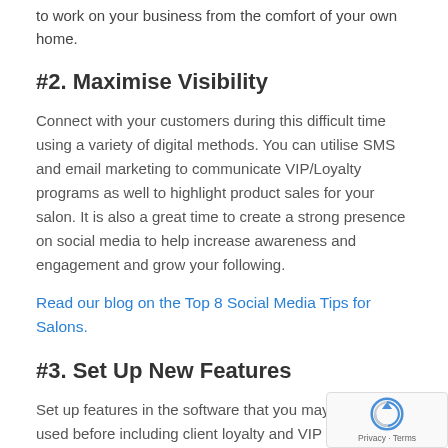to work on your business from the comfort of your own home.
#2. Maximise Visibility
Connect with your customers during this difficult time using a variety of digital methods. You can utilise SMS and email marketing to communicate VIP/Loyalty programs as well to highlight product sales for your salon. It is also a great time to create a strong presence on social media to help increase awareness and engagement and grow your following.
Read our blog on the Top 8 Social Media Tips for Salons.
#3. Set Up New Features
Set up features in the software that you may not have used before including client loyalty and VIP programs,